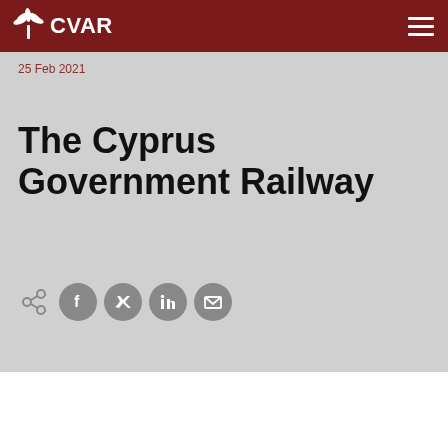CVAR
25 Feb 2021
The Cyprus Government Railway
[Figure (infographic): Social share icons: share arrow, Facebook, Twitter, LinkedIn, Email]